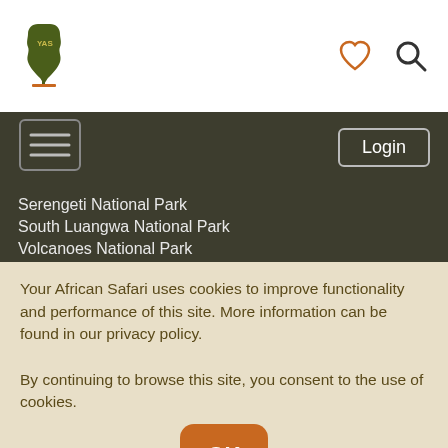[Figure (logo): Your African Safari logo: dark green Africa continent shape with tree/text, orange base line]
[Figure (illustration): Heart icon (outline, orange) and magnifying glass icon (black) in header]
[Figure (illustration): Hamburger menu icon (three lines, dark nav bar)]
Login
Serengeti National Park
South Luangwa National Park
Volcanoes National Park
Latest blog posts
Visiting captive wildlife facilities in South Africa
Mwubalibe Doudou, Safari's hidden gem
Latest reviews
Ghana safari excellence
Conosgliate
Holiday of a lifetime!
Your African Safari uses cookies to improve functionality and performance of this site. More information can be found in our privacy policy.
By continuing to browse this site, you consent to the use of cookies.
OK